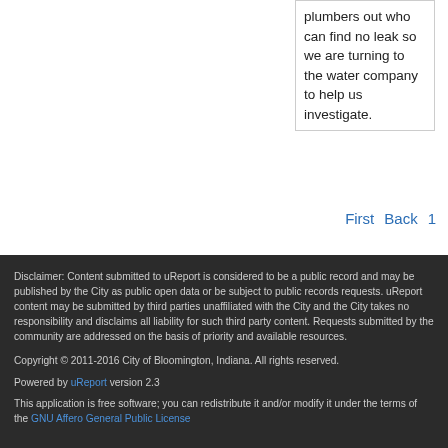plumbers out who can find no leak so we are turning to the water company to help us investigate.
First   Back   1
Disclaimer: Content submitted to uReport is considered to be a public record and may be published by the City as public open data or be subject to public records requests. uReport content may be submitted by third parties unaffiliated with the City and the City takes no responsibility and disclaims all liability for such third party content. Requests submitted by the community are addressed on the basis of priority and available resources.
Copyright © 2011-2016 City of Bloomington, Indiana. All rights reserved.
Powered by uReport version 2.3
This application is free software; you can redistribute it and/or modify it under the terms of the GNU Affero General Public License